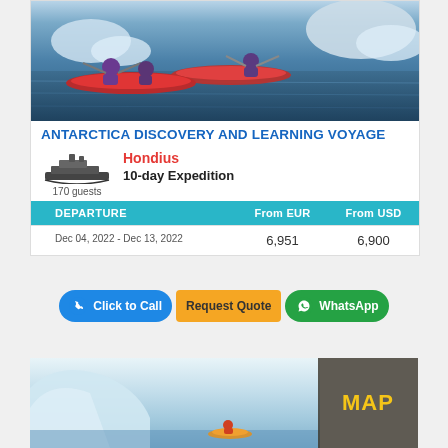[Figure (photo): Two people in red kayaks paddling near icebergs in Antarctic blue water]
ANTARCTICA DISCOVERY AND LEARNING VOYAGE
Hondius
170 guests
10-day Expedition
| DEPARTURE | From EUR | From USD |
| --- | --- | --- |
| Dec 04, 2022 - Dec 13, 2022 | 6,951 | 6,900 |
Click to Call
Request Quote
WhatsApp
[Figure (photo): Icebergs with kayakers and a MAP overlay label]